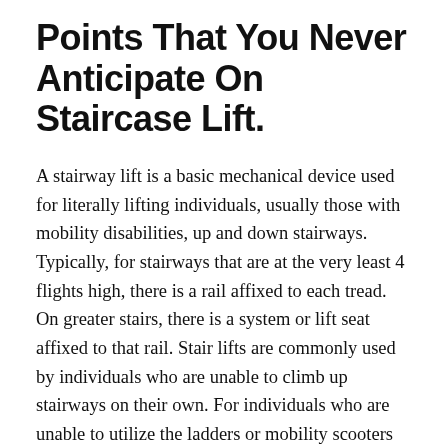Points That You Never Anticipate On Staircase Lift.
A stairway lift is a basic mechanical device used for literally lifting individuals, usually those with mobility disabilities, up and down stairways. Typically, for stairways that are at the very least 4 flights high, there is a rail affixed to each tread. On greater stairs, there is a system or lift seat affixed to that rail. Stair lifts are commonly used by individuals who are unable to climb up stairways on their own. For individuals who are unable to utilize the ladders or mobility scooters for getting up and also down the stairs, stairway lifts permit them